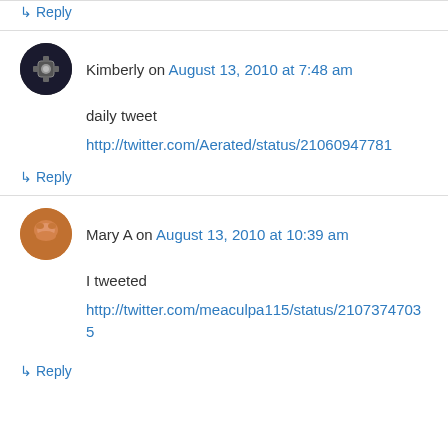↳ Reply
Kimberly on August 13, 2010 at 7:48 am
daily tweet
http://twitter.com/Aerated/status/21060947781
↳ Reply
Mary A on August 13, 2010 at 10:39 am
I tweeted
http://twitter.com/meaculpa115/status/21073747035
↳ Reply